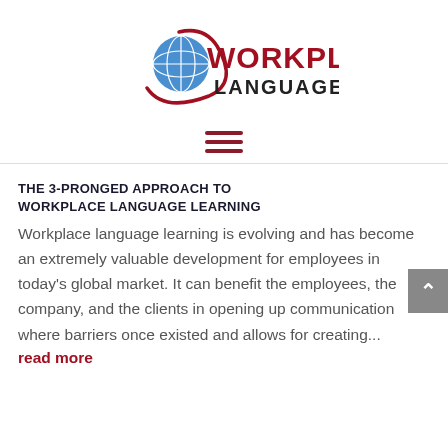[Figure (logo): Workplace Languages logo with globe graphic and red swoosh, text WORKPLACE in red and LANGUAGES in dark gray]
[Figure (other): Hamburger menu icon — three dark red horizontal lines]
THE 3-PRONGED APPROACH TO WORKPLACE LANGUAGE LEARNING
Workplace language learning is evolving and has become an extremely valuable development for employees in today's global market. It can benefit the employees, the company, and the clients in opening up communication where barriers once existed and allows for creating...
read more